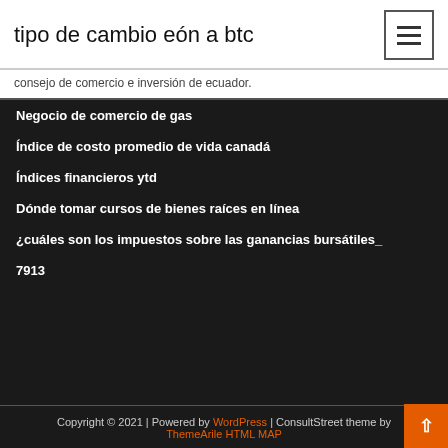tipo de cambio eón a btc
consejo de comercio e inversión de ecuador.
Negocio de comercio de gas
Índice de costo promedio de vida canadá
Índices financieros ytd
Dónde tomar cursos de bienes raíces en línea
¿cuáles son los impuestos sobre las ganancias bursátiles_
7913
Copyright © 2021 | Powered by WordPress | ConsultStreet theme by ThemeArile HTML MAP